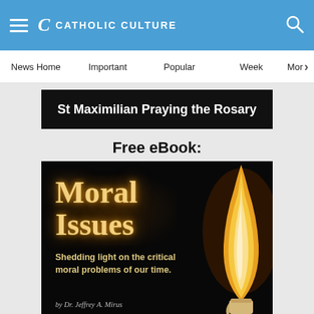CATHOLIC CULTURE
News Home | Important | Popular | Week | More
[Figure (illustration): Black banner image with white text: St Maximilian Praying the Rosary]
Free eBook:
[Figure (illustration): Book cover for 'Moral Issues: Shedding light on the critical moral problems of our time.' by Dr. Jeffrey A. Mirus. Dark background with a lit candle on the right and glowing gold/orange title text on the left.]